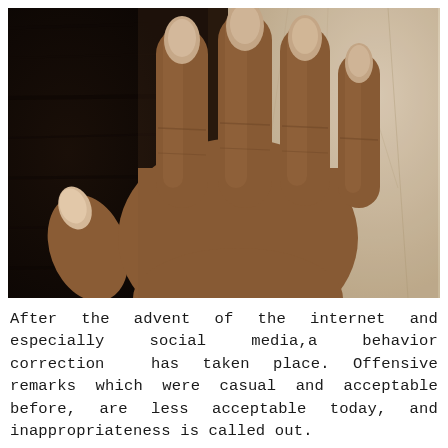[Figure (photo): A close-up photograph of a human hand resting on a dark wooden surface. The hand has dark brown skin, fingernails are visible on four fingers. The background to the right is a light beige/cream crumpled paper or fabric. The fingers are spread slightly and pointing upward.]
After the advent of the internet and especially social media,a behavior correction has taken place. Offensive remarks which were casual and acceptable before, are less acceptable today, and inappropriateness is called out.